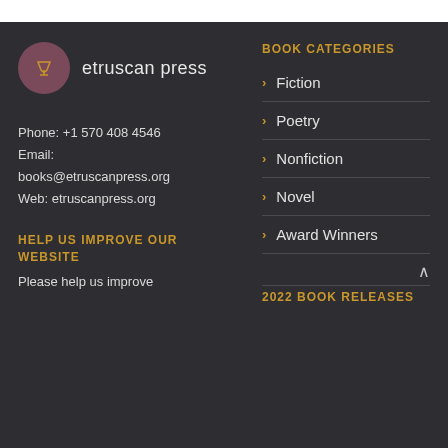[Figure (logo): Etruscan Press logo: dark reddish-purple circle with a stylized goblet/chalice icon, followed by the text 'etruscan press' in light sans-serif]
Phone: +1 570 408 4546
Email:
books@etruscanpress.org
Web: etruscanpress.org
HELP US IMPROVE OUR WEBSITE
Please help us improve
BOOK CATEGORIES
> Fiction
> Poetry
> Nonfiction
> Novel
> Award Winners
2022 BOOK RELEASES